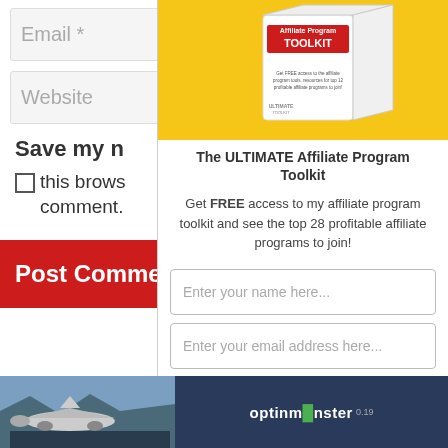Email *
Website
Save my n
this brows comment.
Post Comme
[Figure (photo): Product image of Ultimate Affiliate Program Toolkit box on yellow background]
The ULTIMATE Affiliate Program Toolkit
Get FREE access to my affiliate program toolkit and see the top 28 profitable affiliate programs to join!
Enter your name here...
Enter your email address here...
Yes! Send Me The FREE PDF
[Figure (photo): Bottom strip with airplane photo and OptinMonster branding]
optinmonster